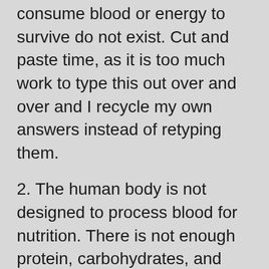consume blood or energy to survive do not exist. Cut and paste time, as it is too much work to type this out over and over and I recycle my own answers instead of retyping them.
2. The human body is not designed to process blood for nutrition. There is not enough protein, carbohydrates, and fats present in blood to maintain a complex creature such as Homo Sapiens or any theorized offshoot mutations. When a human ingests food it is broken up into a bolus by chewing, then churned up in the stomach with digestive juices to form a mass called chyme. It then passes through the pylorus into the duodenum, part of the small intestine where it mixes with bile salts and secretions from the pancreas and liver which continue breaking it down on a molecular basis. The broken down nutrients pass through the wall of the intestines and into the